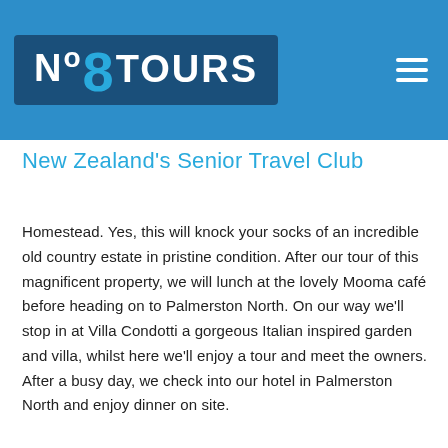[Figure (logo): No8Tours logo — white text on dark navy background, with a large cyan number 8, inside a blue header banner]
New Zealand's Senior Travel Club
Homestead. Yes, this will knock your socks of an incredible old country estate in pristine condition. After our tour of this magnificent property, we will lunch at the lovely Mooma café before heading on to Palmerston North. On our way we'll stop in at Villa Condotti a gorgeous Italian inspired garden and villa, whilst here we'll enjoy a tour and meet the owners. After a busy day, we check into our hotel in Palmerston North and enjoy dinner on site.